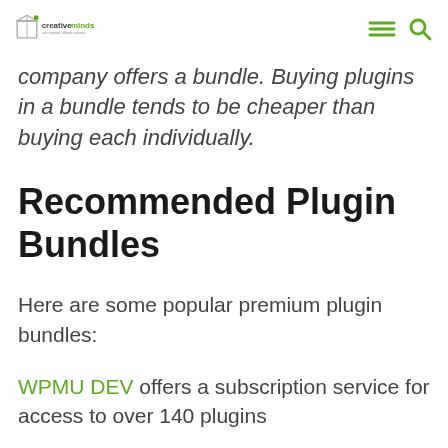creativeminds – user centered software solutions
company offers a bundle. Buying plugins in a bundle tends to be cheaper than buying each individually.
Recommended Plugin Bundles
Here are some popular premium plugin bundles:
WPMU DEV offers a subscription service for access to over 140 plugins